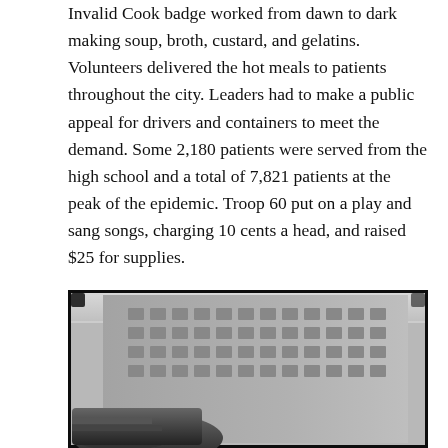Invalid Cook badge worked from dawn to dark making soup, broth, custard, and gelatins. Volunteers delivered the hot meals to patients throughout the city. Leaders had to make a public appeal for drivers and containers to meet the demand. Some 2,180 patients were served from the high school and a total of 7,821 patients at the peak of the epidemic. Troop 60 put on a play and sang songs, charging 10 cents a head, and raised $25 for supplies.
[Figure (photo): Black and white historical photograph showing a large crowd of people gathered in front of a multi-story brick building with many windows. The crowd appears to be from the early 20th century based on attire.]